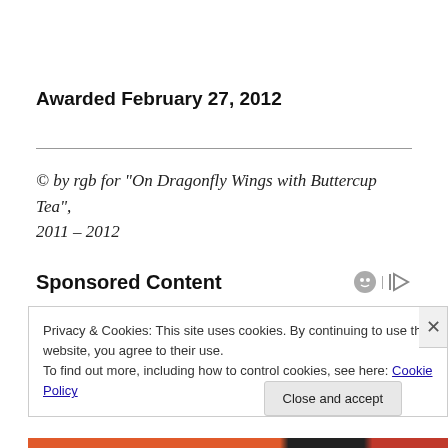Awarded February 27, 2012
© by rgb for “On Dragonfly Wings with Buttercup Tea”, 2011 – 2012
Sponsored Content
Privacy & Cookies: This site uses cookies. By continuing to use this website, you agree to their use.
To find out more, including how to control cookies, see here: Cookie Policy
Close and accept